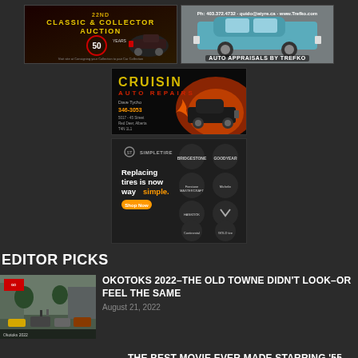[Figure (illustration): Classic & Collector Auction advertisement banner with dark background, showing classic car tailfin, 50 years logo, text about auction]
[Figure (illustration): Auto Appraisals by Trefko advertisement showing a classic 1955 Chevrolet car, teal/blue color, with contact info]
[Figure (illustration): Cruisin Auto Repairs advertisement with black background, yellow Cruisin title, red Auto Repairs text, phone number 346-3053, Dave Tycho, address, hot rod car graphic]
[Figure (illustration): SimpleTire advertisement - dark background, text Replacing tires is now way simple. with orange Shop Now button, tire brand logos in circles on right side (Bridgestone, Goodyear, Firestone, Michelin, Hankook, Lexani, Continental, Gold tire)]
EDITOR PICKS
[Figure (photo): Street scene photo of Okotoks car show 2022, cars lined up on old town street, overcast sky, Okotoks 2022 label]
OKOTOKS 2022–THE OLD TOWNE DIDN'T LOOK–OR FEEL THE SAME
August 21, 2022
THE BEST MOVIE EVER MADE STARRING '55 FORDS